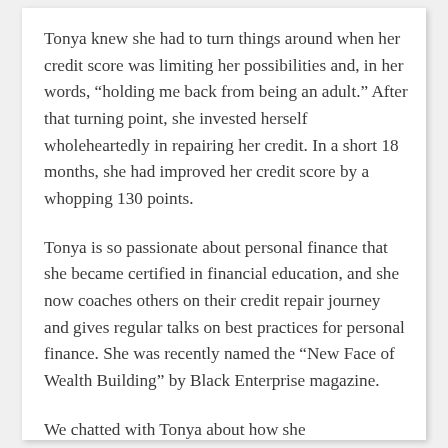Tonya knew she had to turn things around when her credit score was limiting her possibilities and, in her words, “holding me back from being an adult.” After that turning point, she invested herself wholeheartedly in repairing her credit. In a short 18 months, she had improved her credit score by a whopping 130 points.
Tonya is so passionate about personal finance that she became certified in financial education, and she now coaches others on their credit repair journey and gives regular talks on best practices for personal finance. She was recently named the “New Face of Wealth Building” by Black Enterprise magazine.
We chatted with Tonya about how she